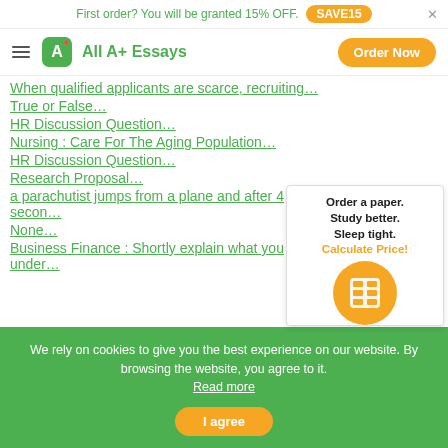First order? You will be granted 15% OFF. SAVE15
All A+ Essays | Order Now
When qualified applicants are scarce, recruiting…
True or False…
HR Discussion Question…
Nursing : Care For The Aging Population…
HR Discussion Question…
Research Proposal…
a parachutist jumps from a plane and after 4 secon…
None…
Business Finance : Shortly explain what you under…
Order a paper. Study better. Sleep tight. Calculate Price!
We rely on cookies to give you the best experience on our website. By browsing the website, you agree to it. Read more
I agree